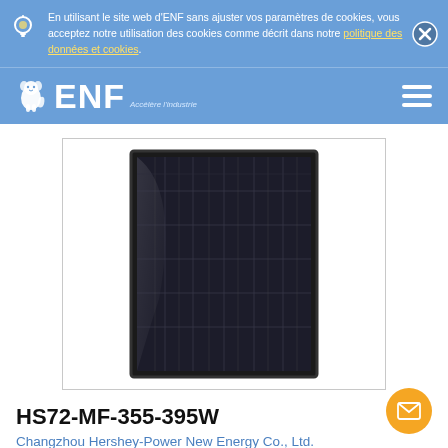En utilisant le site web d'ENF sans ajuster vos paramètres de cookies, vous acceptez notre utilisation des cookies comme décrit dans notre politique des données et cookies.
[Figure (logo): ENF Solar logo with white lion icon and ENF text and tagline 'Accélère l'industrie']
[Figure (photo): Solar panel product image - HS72-MF-355-395W black monocrystalline solar panel]
HS72-MF-355-395W
Changzhou Hershey-Power New Energy Co., Ltd.